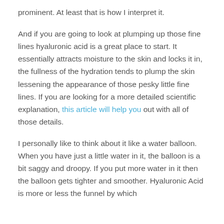prominent. At least that is how I interpret it.
And if you are going to look at plumping up those fine lines hyaluronic acid is a great place to start. It essentially attracts moisture to the skin and locks it in, the fullness of the hydration tends to plump the skin lessening the appearance of those pesky little fine lines. If you are looking for a more detailed scientific explanation, this article will help you out with all of those details.
I personally like to think about it like a water balloon. When you have just a little water in it, the balloon is a bit saggy and droopy. If you put more water in it then the balloon gets tighter and smoother. Hyaluronic Acid is more or less the funnel by which